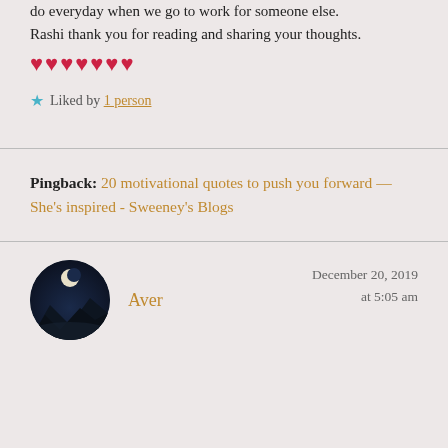do everyday when we go to work for someone else. Rashi thank you for reading and sharing your thoughts. ♥♥♥♥♥♥♥
★ Liked by 1 person
Pingback: 20 motivational quotes to push you forward — She's inspired - Sweeney's Blogs
Aver · December 20, 2019 at 5:05 am